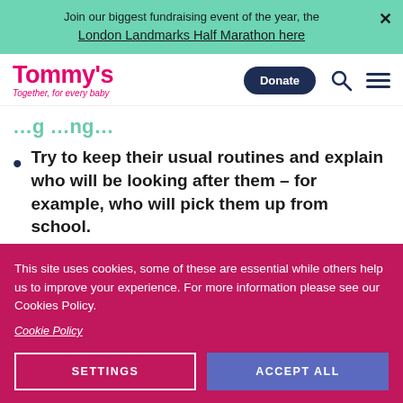Join our biggest fundraising event of the year, the London Landmarks Half Marathon here
[Figure (logo): Tommy's logo with tagline 'Together, for every baby']
[partially visible section header]
Try to keep their usual routines and explain who will be looking after them – for example, who will pick them up from school.
This site uses cookies, some of these are essential while others help us to improve your experience. For more information please see our Cookies Policy.
Cookie Policy
SETTINGS   ACCEPT ALL